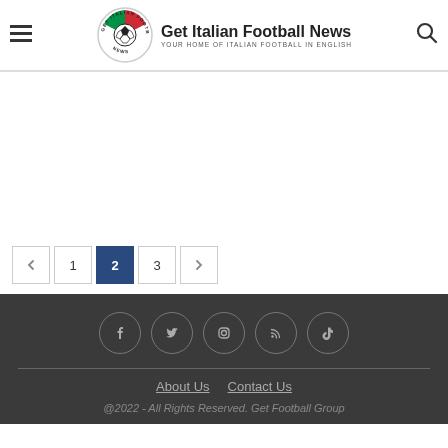Get Italian Football News — YOUR HOME OF ITALIAN FOOTBALL IN ENGLISH
[Figure (other): Advertisement / blank content area]
Pagination: previous, 1, 2 (current), 3, next
Social icons: Facebook, Twitter, Instagram, RSS, TikTok. About Us | Contact Us. @2022 - All Rights Reserved. Get Football Group